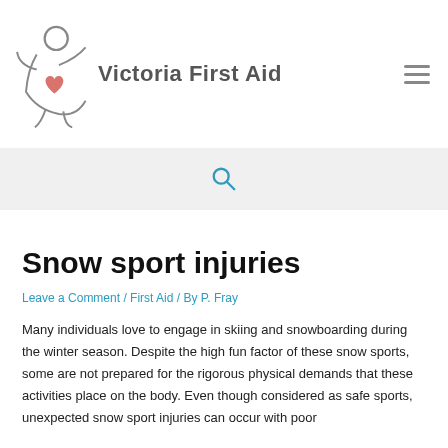[Figure (logo): Victoria First Aid logo: a stick figure person with a red heart on the chest, alongside the text 'Victoria First Aid']
[Figure (other): Search icon (magnifying glass) on a light grey background search bar]
Snow sport injuries
Leave a Comment / First Aid / By P. Fray
Many individuals love to engage in skiing and snowboarding during the winter season. Despite the high fun factor of these snow sports, some are not prepared for the rigorous physical demands that these activities place on the body. Even though considered as safe sports, unexpected snow sport injuries can occur with poor